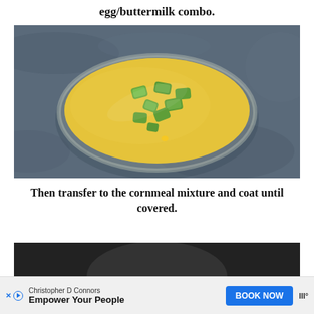egg/buttermilk combo.
[Figure (photo): Overhead view of sliced okra pieces in a glass bowl filled with yellow cornmeal mixture on a dark blue-grey surface]
Then transfer to the cornmeal mixture and coat until covered.
[Figure (photo): Partial view of a dark pan or pot, bottom of page]
Christopher D Connors Empower Your People BOOK NOW